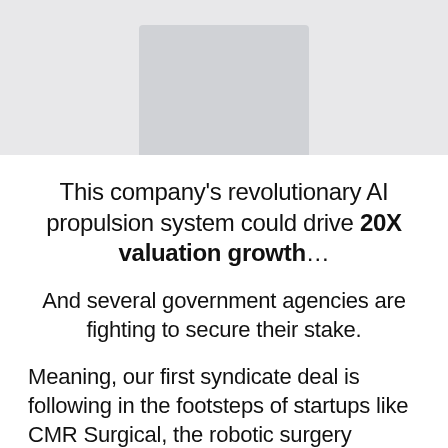[Figure (photo): Partial image at top of page showing a light gray background with a darker gray rectangular object visible at the top center]
This company's revolutionary AI propulsion system could drive 20X valuation growth…
And several government agencies are fighting to secure their stake.
Meaning, our first syndicate deal is following in the footsteps of startups like CMR Surgical, the robotic surgery unicorn which recently surpassed a $3